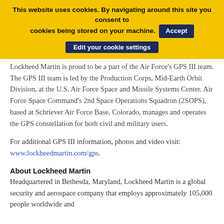This website uses cookies. By navigating around this site you consent to cookies being stored on your machine.  Accept  Edit your cookie settings
Lockheed Martin is proud to be a part of the Air Force's GPS III team. The GPS III team is led by the Production Corps, Mid-Earth Orbit Division, at the U.S. Air Force Space and Missile Systems Center. Air Force Space Command's 2nd Space Operations Squadron (2SOPS), based at Schriever Air Force Base, Colorado, manages and operates the GPS constellation for both civil and military users.
For additional GPS III information, photos and video visit: www.lockheedmartin.com/gps.
About Lockheed Martin
Headquartered in Bethesda, Maryland, Lockheed Martin is a global security and aerospace company that employs approximately 105,000 people worldwide and